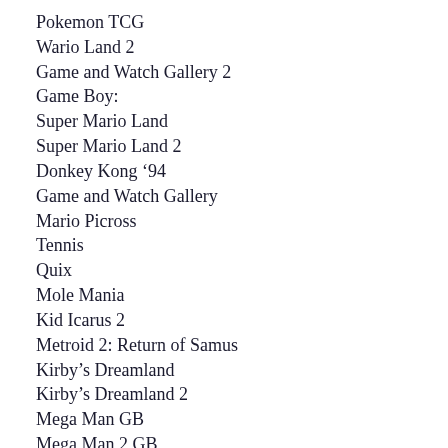Pokemon TCG
Wario Land 2
Game and Watch Gallery 2
Game Boy:
Super Mario Land
Super Mario Land 2
Donkey Kong '94
Game and Watch Gallery
Mario Picross
Tennis
Quix
Mole Mania
Kid Icarus 2
Metroid 2: Return of Samus
Kirby's Dreamland
Kirby's Dreamland 2
Mega Man GB
Mega Man 2 GB
Mega Man 3 GB